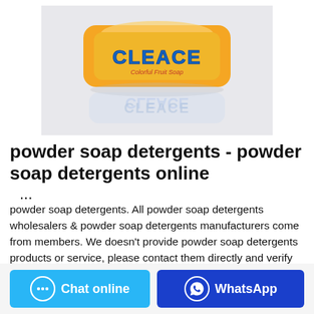[Figure (photo): A yellow/orange bar of CLEACE Colorful Fruit Soap on a white background with a reflection below it.]
powder soap detergents - powder soap detergents online
...
powder soap detergents. All powder soap detergents wholesalers & powder soap detergents manufacturers come from members. We doesn't provide powder soap detergents products or service, please contact them directly and verify their companies info carefully.
Chat online   WhatsApp